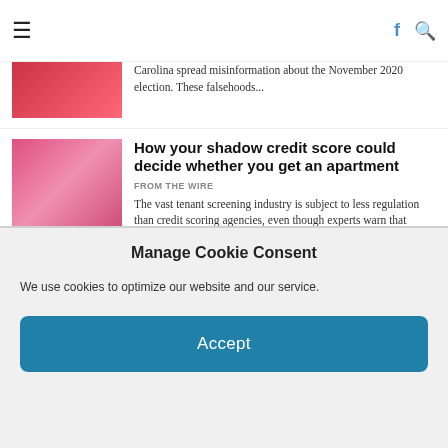≡  [hamburger menu]  [Facebook icon] [Search icon]
Carolina spread misinformation about the November 2020 election. These falsehoods...
How your shadow credit score could decide whether you get an apartment
FROM THE WIRE
The vast tenant screening industry is subject to less regulation than credit scoring agencies, even though experts warn that algorithms...
Jan. 6 Logs Show 457-Minute Gap in Trump Calls
FROM THE WIRE
'Coverup?' "Nixon had an 18.5-minute gap in his
Manage Cookie Consent
We use cookies to optimize our website and our service.
Accept